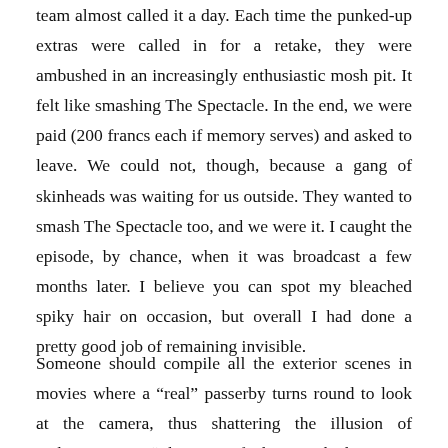team almost called it a day. Each time the punked-up extras were called in for a retake, they were ambushed in an increasingly enthusiastic mosh pit. It felt like smashing The Spectacle. In the end, we were paid (200 francs each if memory serves) and asked to leave. We could not, though, because a gang of skinheads was waiting for us outside. They wanted to smash The Spectacle too, and we were it. I caught the episode, by chance, when it was broadcast a few months later. I believe you can spot my bleached spiky hair on occasion, but overall I had done a pretty good job of remaining invisible.
Someone should compile all the exterior scenes in movies where a “real” passerby turns round to look at the camera, thus shattering the illusion of authenticity. In “The Sign of Three,” which was on television last week, there is a brief